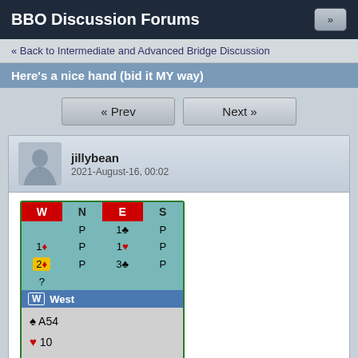BBO Discussion Forums
« Back to Intermediate and Advanced Bridge Discussion
Here's a nice hand (bid it MY way)
« Prev   Next »
jillybean
2021-August-16, 00:02
[Figure (other): Bridge bidding table showing W N E S positions with bids: P 1♣ P / 1♦ P 1♥ P / 2♦(highlighted) P 3♣ P / ? and West hand: ♠ A54 ♥ 10 ♦ AKQJ96 ♣ KQ8]